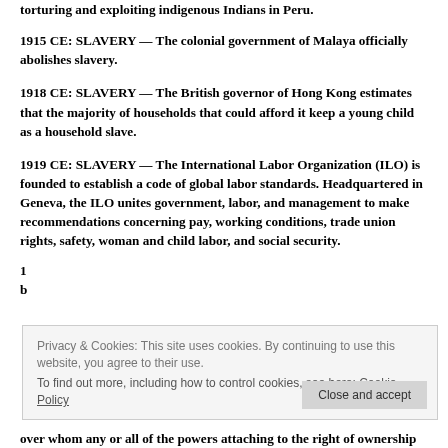torturing and exploiting indigenous Indians in Peru.
1915 CE: SLAVERY — The colonial government of Malaya officially abolishes slavery.
1918 CE: SLAVERY — The British governor of Hong Kong estimates that the majority of households that could afford it keep a young child as a household slave.
1919 CE: SLAVERY — The International Labor Organization (ILO) is founded to establish a code of global labor standards. Headquartered in Geneva, the ILO unites government, labor, and management to make recommendations concerning pay, working conditions, trade union rights, safety, woman and child labor, and social security.
Privacy & Cookies: This site uses cookies. By continuing to use this website, you agree to their use. To find out more, including how to control cookies, see here: Cookie Policy
over whom any or all of the powers attaching to the right of ownership